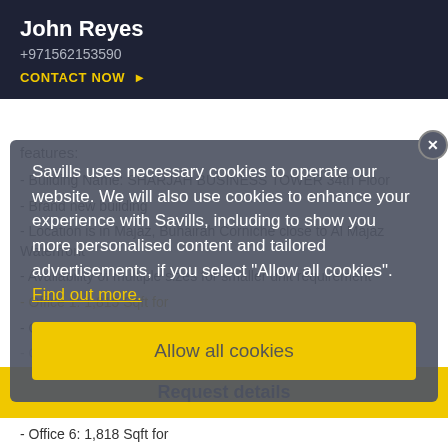John Reyes
+971562153590
CONTACT NOW ▶
features:
- Building Name: SHARJAH BUSINESS TOWER 34th Floor
- Brand new building
- Location is in Majaz, Buhairah Corniche close to Al Majaz Waterfront
- Availability of multiple sizes for smaller unit requirement
Savills uses necessary cookies to operate our website. We will also use cookies to enhance your experience with Savills, including to show you more personalised content and tailored advertisements, if you select "Allow all cookies".
Find out more.
Allow all cookies
- Office 1: 1,815 Sqft for
- Office 2: 2,102 Sqft for
- Office 3: 2,865 Sqft for
Request details
- Office 6: 1,818 Sqft for